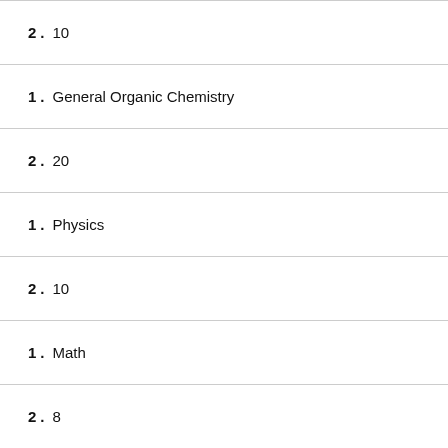2. 10
1. General Organic Chemistry
2. 20
1. Physics
2. 10
1. Math
2. 8
1. Upper Division Core